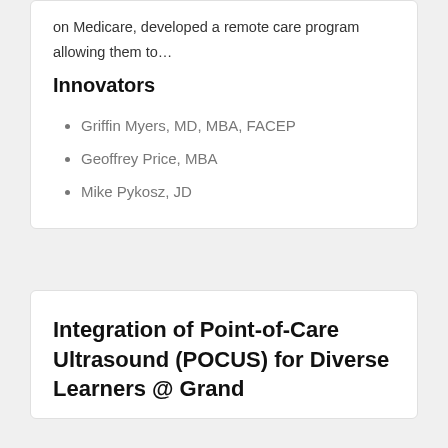on Medicare, developed a remote care program allowing them to…
Innovators
Griffin Myers, MD, MBA, FACEP
Geoffrey Price, MBA
Mike Pykosz, JD
Integration of Point-of-Care Ultrasound (POCUS) for Diverse Learners @ Grand